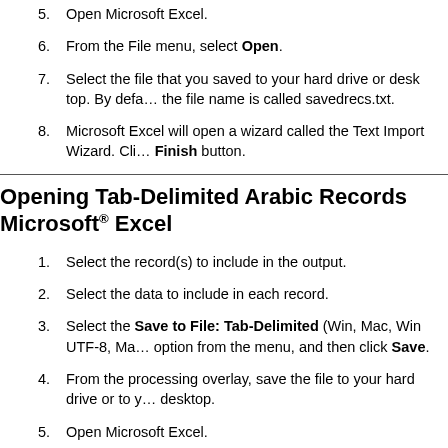5. Open Microsoft Excel.
6. From the File menu, select Open.
7. Select the file that you saved to your hard drive or desk top. By default, the file name is called savedrecs.txt.
8. Microsoft Excel will open a wizard called the Text Import Wizard. Click through to the Finish button.
Opening Tab-Delimited Arabic Records in Microsoft® Excel
1. Select the record(s) to include in the output.
2. Select the data to include in each record.
3. Select the Save to File: Tab-Delimited (Win, Mac, Win UTF-8, Mac UTF-8) option from the menu, and then click Save.
4. From the processing overlay, save the file to your hard drive or to your desktop.
5. Open Microsoft Excel.
6. From the File menu, select Open.